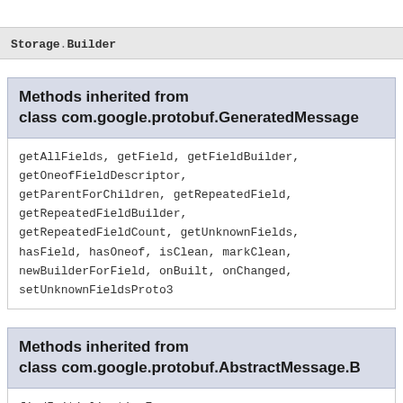Storage.Builder
Methods inherited from class com.google.protobuf.GeneratedMessage
getAllFields, getField, getFieldBuilder, getOneofFieldDescriptor, getParentForChildren, getRepeatedField, getRepeatedFieldBuilder, getRepeatedFieldCount, getUnknownFields, hasField, hasOneof, isClean, markClean, newBuilderForField, onBuilt, onChanged, setUnknownFieldsProto3
Methods inherited from class com.google.protobuf.AbstractMessage.B
findInitializationErrors, getInitializationErrorString, internalMergeFrom, mergeDelimitedFrom, mergeDelimitedFrom, mergeFrom, mergeFrom,